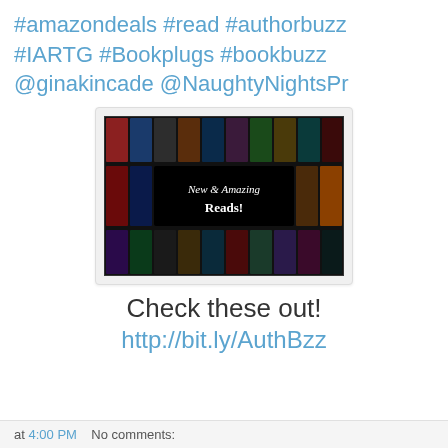#amazondeals #read #authorbuzz #IARTG #Bookplugs #bookbuzz @ginakincade @NaughtyNightsPr
[Figure (illustration): Promotional book collage image with many romance novel covers arranged around a black center banner reading 'New & Amazing Reads!']
Check these out!
http://bit.ly/AuthBzz
at 4:00 PM    No comments: